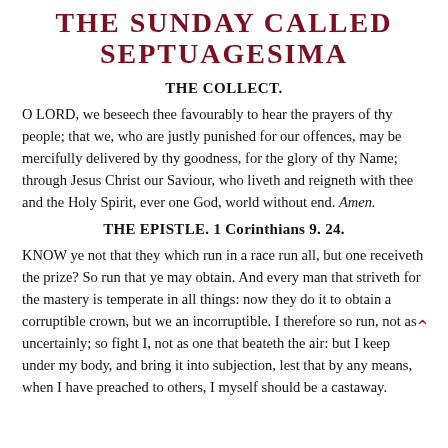THE SUNDAY CALLED SEPTUAGESIMA
THE COLLECT.
O LORD, we beseech thee favourably to hear the prayers of thy people; that we, who are justly punished for our offences, may be mercifully delivered by thy goodness, for the glory of thy Name; through Jesus Christ our Saviour, who liveth and reigneth with thee and the Holy Spirit, ever one God, world without end. Amen.
THE EPISTLE. 1 Corinthians 9. 24.
KNOW ye not that they which run in a race run all, but one receiveth the prize? So run that ye may obtain. And every man that striveth for the mastery is temperate in all things: now they do it to obtain a corruptible crown, but we an incorruptible. I therefore so run, not as uncertainly; so fight I, not as one that beateth the air: but I keep under my body, and bring it into subjection, lest that by any means, when I have preached to others, I myself should be a castaway.